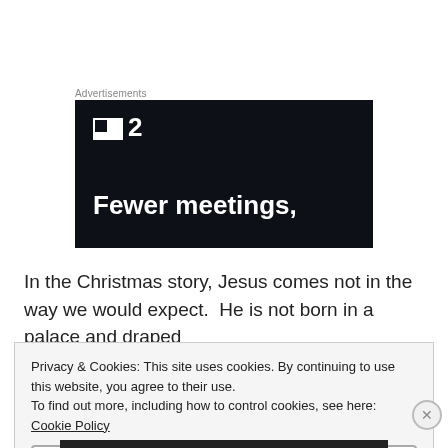Advertisements
[Figure (screenshot): Dark advertisement banner with a logo showing a small square icon and the number 2, followed by text 'Fewer meetings,']
In the Christmas story, Jesus comes not in the way we would expect.  He is not born in a palace and draped
Privacy & Cookies: This site uses cookies. By continuing to use this website, you agree to their use.
To find out more, including how to control cookies, see here: Cookie Policy
Close and accept